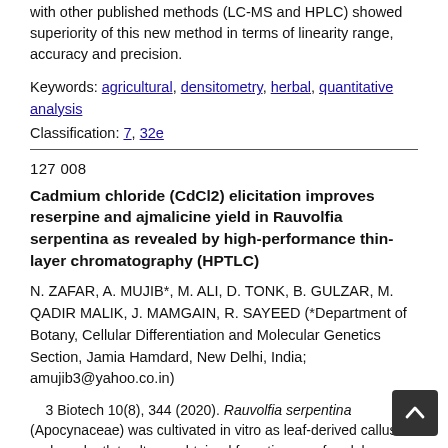with other published methods (LC-MS and HPLC) showed superiority of this new method in terms of linearity range, accuracy and precision.
Keywords: agricultural, densitometry, herbal, quantitative analysis
Classification: 7, 32e
127 008
Cadmium chloride (CdCl2) elicitation improves reserpine and ajmalicine yield in Rauvolfia serpentina as revealed by high-performance thin-layer chromatography (HPTLC)
N. ZAFAR, A. MUJIB*, M. ALI, D. TONK, B. GULZAR, M. QADIR MALIK, J. MAMGAIN, R. SAYEED (*Department of Botany, Cellular Differentiation and Molecular Genetics Section, Jamia Hamdard, New Delhi, India; amujib3@yahoo.co.in)
3 Biotech 10(8), 344 (2020). Rauvolfia serpentina (Apocynaceae) was cultivated in vitro as leaf-derived callus and as plantlet cultures obtained from tissues of nodal explants, without or with cadmium chloride as elicitor of alkaloid production. TLC of